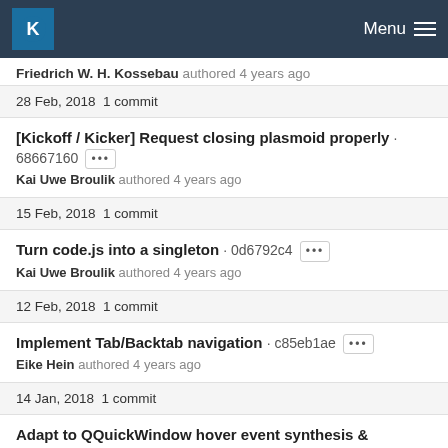KDE Menu
Friedrich W. H. Kossebau authored 4 years ago
28 Feb, 2018 1 commit
[Kickoff / Kicker] Request closing plasmoid properly · 68667160 ··· Kai Uwe Broulik authored 4 years ago
15 Feb, 2018 1 commit
Turn code.js into a singleton · 0d6792c4 ··· Kai Uwe Broulik authored 4 years ago
12 Feb, 2018 1 commit
Implement Tab/Backtab navigation · c85eb1ae ··· Eike Hein authored 4 years ago
14 Jan, 2018 1 commit
Adapt to QQuickWindow hover event synthesis & optimize ...